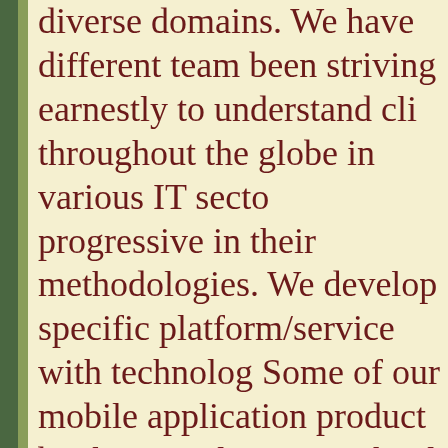diverse domains. We have different teams been striving earnestly to understand clients throughout the globe in various IT sectors progressive in their methodologies. We develop specific platform/service with technology. Some of our mobile application products are booking application, school management, commerce buys and sells the app, Salesforce app, Appointment booking app, Listing media app and many more.
The mobile application becomes a necessity for increasing your business revenue and it gives tough competition to competitors. It is modern trends, nowadays every company wants to product and make easy for customers to